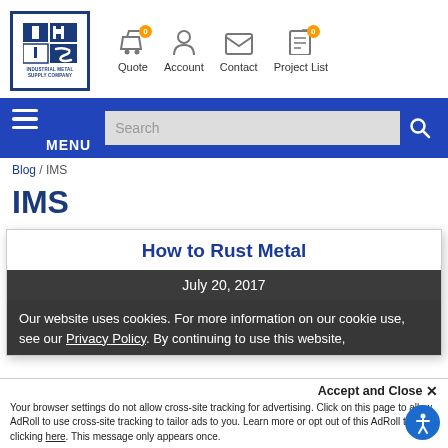[Figure (logo): IMS Industrial Metal Supply Company logo - blue square grid logo with company name below]
Quote  Account  Contact  Project List
MENU
Blog / IMS
IMS
How to Rust Metal
July 20, 2017
Our website uses cookies. For more information on our cookie use, see our Privacy Policy. By continuing to use this website
Accept and Close ✕
Your browser settings do not allow cross-site tracking for advertising. Click on this page to allow AdRoll to use cross-site tracking to tailor ads to you. Learn more or opt out of this AdRoll tracking by clicking here. This message only appears once.